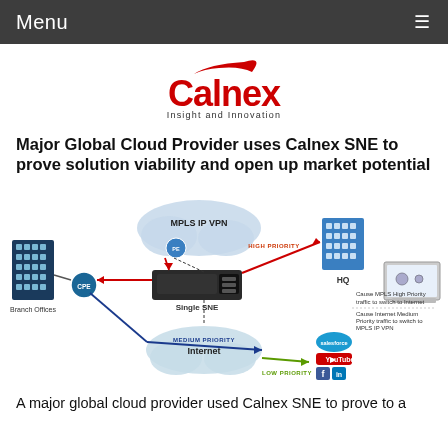Menu
[Figure (logo): Calnex Insight and Innovation logo — red swoosh above, red bold Calnex wordmark, subtitle Insight and Innovation]
Major Global Cloud Provider uses Calnex SNE to prove solution viability and open up market potential
[Figure (network-graph): Network diagram showing Branch Offices connected via CPE router to a Single SNE device. From SNE, traffic routes through MPLS IP VPN cloud (HIGH PRIORITY - red arrow to HQ building) and Internet cloud (MEDIUM PRIORITY - blue arrow, LOW PRIORITY - green arrow) to Salesforce, YouTube, Facebook, LinkedIn icons. Annotations: 'Cause MPLS High Priority traffic to switch to Internet' and 'Cause Internet Medium Priority traffic to switch to MPLS IP VPN'. A laptop/monitor shows SNE management interface.]
A major global cloud provider used Calnex SNE to prove to a